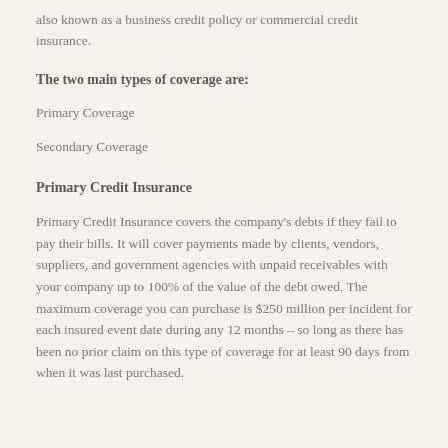also known as a business credit policy or commercial credit insurance.
The two main types of coverage are:
Primary Coverage
Secondary Coverage
Primary Credit Insurance
Primary Credit Insurance covers the company’s debts if they fail to pay their bills. It will cover payments made by clients, vendors, suppliers, and government agencies with unpaid receivables with your company up to 100% of the value of the debt owed. The maximum coverage you can purchase is $250 million per incident for each insured event date during any 12 months – so long as there has been no prior claim on this type of coverage for at least 90 days from when it was last purchased.